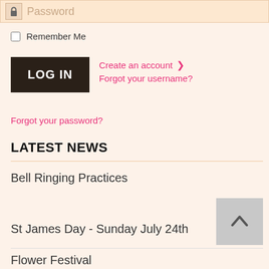[Figure (screenshot): Password input field with lock icon and placeholder text]
Remember Me
LOG IN
Create an account ›
Forgot your username?
Forgot your password?
LATEST NEWS
Bell Ringing Practices
St James Day - Sunday July 24th
Flower Festival